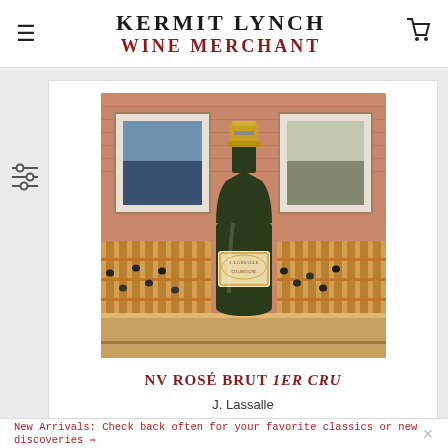KERMIT LYNCH WINE MERCHANT
[Figure (photo): Product photo of J. Lassalle NV Rosé Brut 1er Cru champagne bottle on a wooden surface with brick wall and wine racks in background]
NV ROSÉ BRUT 1ER CRU
J. Lassalle
France | Champagne | Chigny-Les-Roses
New Arrivals: Check back often for your favorite classics or new discoveries →